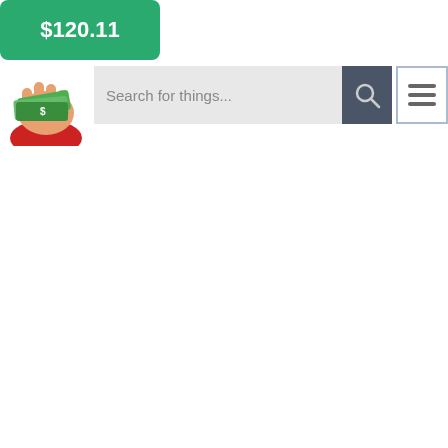$120.11
[Figure (illustration): Hand holding cash bills illustration (cartoon style), partially visible at top-left of page]
Search for things...